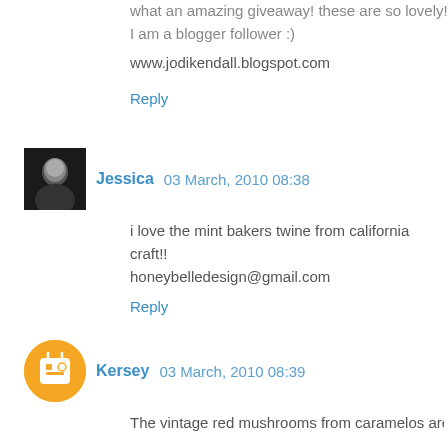what an amazing giveaway! These are so lovely! I am a blogger follower :)
www.jodikendall.blogspot.com
Reply
Jessica 03 March, 2010 08:38
i love the mint bakers twine from california craft!!
honeybelledesign@gmail.com
Reply
Kersey 03 March, 2010 08:39
The vintage red mushrooms from caramelos are AMAZING!
madebymatchgirl@gmail.com
Reply